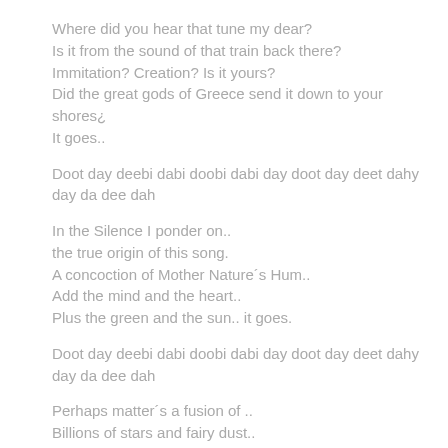Where did you hear that tune my dear?
Is it from the sound of that train back there?
Immitation?  Creation? Is it yours?
Did the great gods of Greece send it down to your shores¿
It goes..
Doot day deebi dabi doobi dabi day doot day deet dahy day da dee dah
In the Silence I ponder on..
the true origin of this song.
A concoction of Mother Nature´s Hum..
Add the mind and the heart..
Plus the green and the sun.. it goes.
Doot day deebi dabi doobi dabi day doot day deet dahy day da dee dah
Perhaps matter´s a fusion of ..
Billions of stars and fairy dust..
The soul meets the heart.. meets the mind
Who in turn tries to interpret the sensorial side...